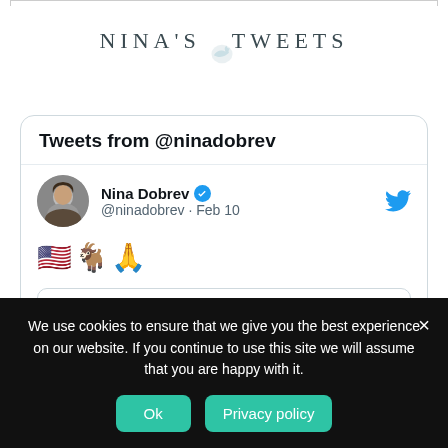NINA'S TWEETS
[Figure (screenshot): Twitter/X embedded widget showing 'Tweets from @ninadobrev'. Contains a tweet by Nina Dobrev (verified, @ninadobrev, Feb 10) with emojis: US flag, goat, and praying hands. Below is a quoted tweet from NBC... @NBCO... Feb 10.]
We use cookies to ensure that we give you the best experience on our website. If you continue to use this site we will assume that you are happy with it.